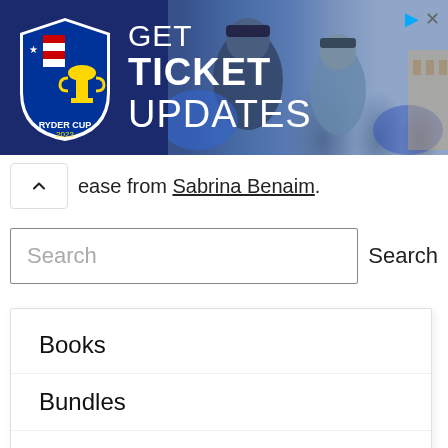[Figure (screenshot): Ryder Cup advertisement banner with logo and 'GET TICKET UPDATES' text, with golf players photo on right]
ease from Sabrina Benaim.
Search
Books
Bundles
Digital Only
Featured
Forthcoming Books
Merch